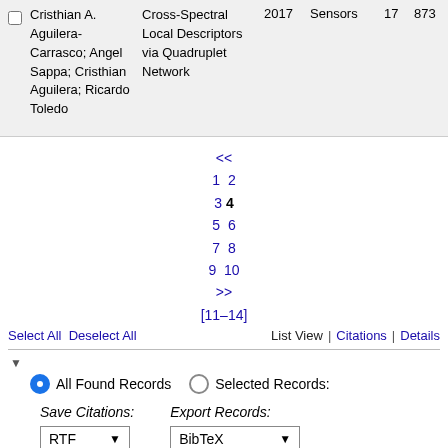|  | Authors | Title | Year | Journal | Vol | Page |
| --- | --- | --- | --- | --- | --- | --- |
| ☐ | Cristhian A. Aguilera-Carrasco; Angel Sappa; Cristhian Aguilera; Ricardo Toledo | Cross-Spectral Local Descriptors via Quadruplet Network | 2017 | Sensors | 17 | 873 |
<< 1 2 3 4 5 6 7 8 9 10 >> [11–14]
Select All   Deselect All                                           List View | Citations | Details
▼
● All Found Records   ○ Selected Records:
Save Citations: RTF ▾     Export Records: BibTeX ▾
Cite     Export